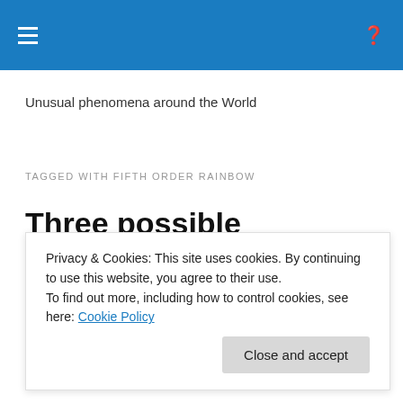Unusual phenomena around the World
TAGGED WITH FIFTH ORDER RAINBOW
Three possible photographic detections of the natural fifth
Privacy & Cookies: This site uses cookies. By continuing to use this website, you agree to their use. To find out more, including how to control cookies, see here: Cookie Policy
recorded during 2009-2021 in New Mexico, USA, a